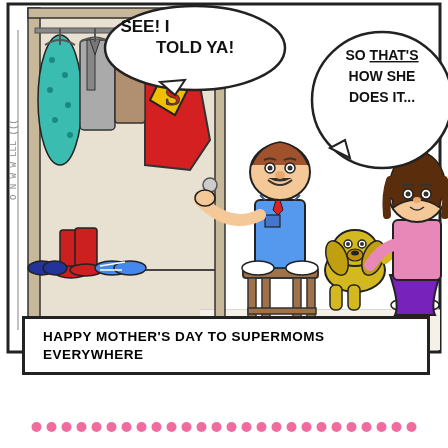[Figure (illustration): A comic strip showing two children and a dog discovering a Superman cape hanging in their mother's closet among various clothes and shoes. One child stands on a stool holding the red Superman cape with the S-shield emblem. Speech bubbles read 'SEE! I TOLD YA!' and 'SO THAT'S HOW SHE DOES IT...' A banner at the bottom reads 'HAPPY MOTHER'S DAY TO SUPERMOMS EVERYWHERE'.]
HAPPY MOTHER'S DAY TO SUPERMOMS EVERYWHERE